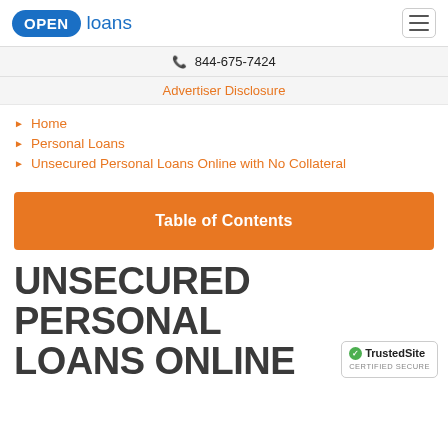OPEN loans
844-675-7424
Advertiser Disclosure
Home
Personal Loans
Unsecured Personal Loans Online with No Collateral
Table of Contents
UNSECURED PERSONAL LOANS ONLINE